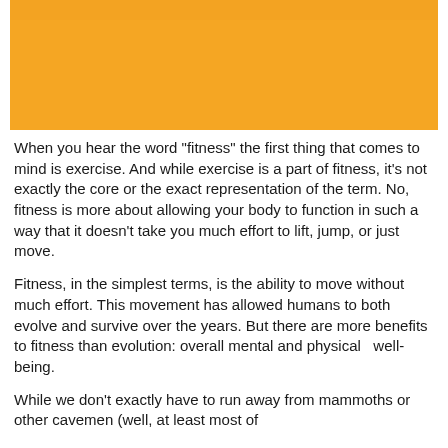[Figure (illustration): Yellow/orange rectangular image area at top of page, partially cropped, showing a golden/amber background with a small figure or object visible at the top edge.]
When you hear the word "fitness" the first thing that comes to mind is exercise. And while exercise is a part of fitness, it's not exactly the core or the exact representation of the term. No, fitness is more about allowing your body to function in such a way that it doesn't take you much effort to lift, jump, or just move.
Fitness, in the simplest terms, is the ability to move without much effort. This movement has allowed humans to both evolve and survive over the years. But there are more benefits to fitness than evolution: overall mental and physical  well-being.
While we don't exactly have to run away from mammoths or other cavemen (well, at least most of